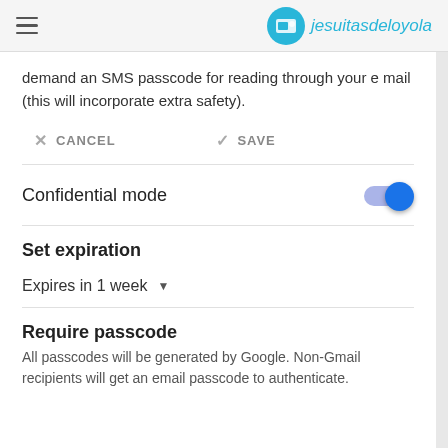jesuitasdeloyola
demand an SMS passcode for reading through your e mail (this will incorporate extra safety).
× CANCEL   ✓ SAVE
Confidential mode
Set expiration
Expires in 1 week
Require passcode
All passcodes will be generated by Google. Non-Gmail recipients will get an email passcode to authenticate.